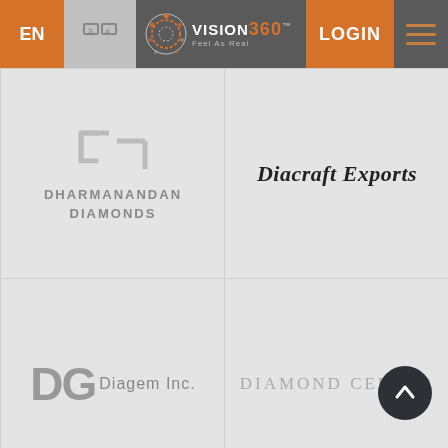[Figure (screenshot): Navigation bar with EN language toggle, logo for Vision 360 (Feel As Real), LOGIN button and hamburger menu]
[Figure (logo): Dharmanandan Diamonds logo with bracket icon and company name]
[Figure (logo): Diacraft Exports company name in serif font]
[Figure (logo): DG Diagem Inc. company logo]
[Figure (logo): Diamond Cellar company name in spaced uppercase serif font]
[Figure (logo): Partial logo at bottom left, partially visible]
[Figure (logo): Partial logo/image at bottom right, partially visible]